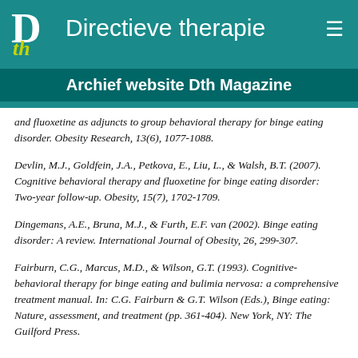Directieve therapie
Archief website Dth Magazine
and fluoxetine as adjuncts to group behavioral therapy for binge eating disorder. Obesity Research, 13(6), 1077-1088.
Devlin, M.J., Goldfein, J.A., Petkova, E., Liu, L., & Walsh, B.T. (2007). Cognitive behavioral therapy and fluoxetine for binge eating disorder: Two-year follow-up. Obesity, 15(7), 1702-1709.
Dingemans, A.E., Bruna, M.J., & Furth, E.F. van (2002). Binge eating disorder: A review. International Journal of Obesity, 26, 299-307.
Fairburn, C.G., Marcus, M.D., & Wilson, G.T. (1993). Cognitive-behavioral therapy for binge eating and bulimia nervosa: a comprehensive treatment manual. In: C.G. Fairburn & G.T. Wilson (Eds.), Binge eating: Nature, assessment, and treatment (pp. 361-404). New York, NY: The Guilford Press.